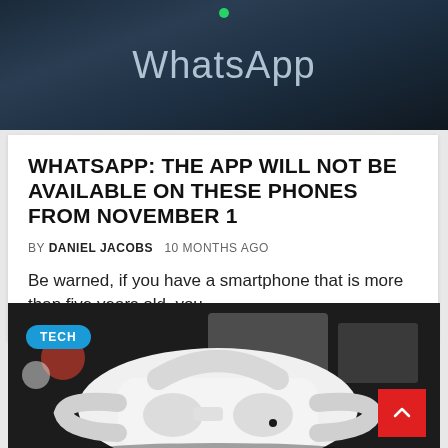[Figure (photo): Dark blurred background with 'WhatsApp' text in light blue-white gradient color at center, with a small green dot above]
WHATSAPP: THE APP WILL NOT BE AVAILABLE ON THESE PHONES FROM NOVEMBER 1
BY DANIEL JACOBS   10 MONTHS AGO
Be warned, if you have a smartphone that is more than five years old, you
[Figure (photo): Photo of a white VR headset (Oculus Quest 2 style) on a dark surface, with product boxes blurred in background. TECH badge overlay in blue on top-left. Red scroll-to-top button with white chevron on bottom-right.]